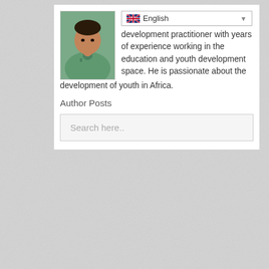[Figure (photo): Headshot photo of Jude Ogar, a man wearing a light green/teal shirt]
Jude Ogar is an development practitioner with years of experience working in the education and youth development space. He is passionate about the development of youth in Africa.
Author Posts
Search here..